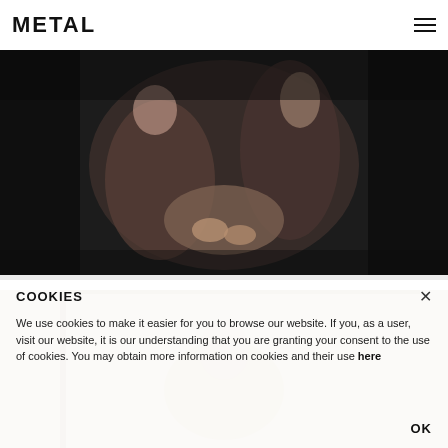METAL
[Figure (photo): Two women sitting together, one painting the other's nails, dark moody background]
[Figure (photo): Second photo partially visible behind cookie overlay]
COOKIES
We use cookies to make it easier for you to browse our website. If you, as a user, visit our website, it is our understanding that you are granting your consent to the use of cookies. You may obtain more information on cookies and their use here
OK